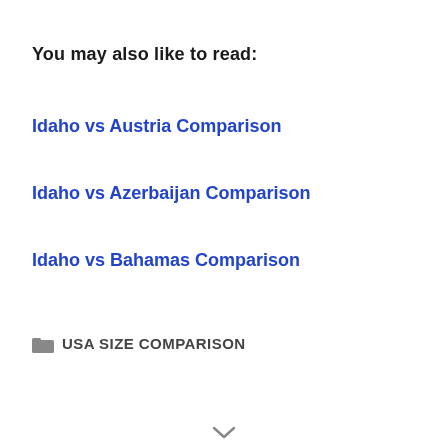You may also like to read:
Idaho vs Austria Comparison
Idaho vs Azerbaijan Comparison
Idaho vs Bahamas Comparison
📁 USA SIZE COMPARISON